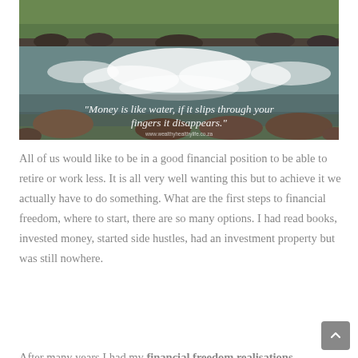[Figure (photo): Photograph of a rushing river with white water rapids, rocky banks, and green hillside in the background. Overlaid text quote reads: "Money is like water, if it slips through your fingers it disappears." with a website URL below.]
All of us would like to be in a good financial position to be able to retire or work less. It is all very well wanting this but to achieve it we actually have to do something. What are the first steps to financial freedom, where to start, there are so many options. I had read books, invested money, started side hustles, had an investment property but was still nowhere.
After many years I had my financial freedom realisations